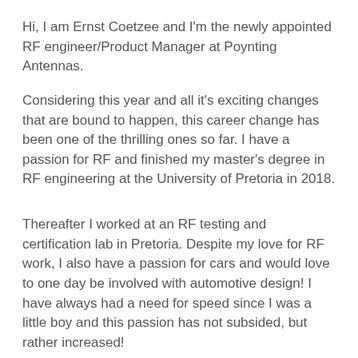Hi, I am Ernst Coetzee and I'm the newly appointed RF engineer/Product Manager at Poynting Antennas.
Considering this year and all it's exciting changes that are bound to happen, this career change has been one of the thrilling ones so far. I have a passion for RF and finished my master's degree in RF engineering at the University of Pretoria in 2018.
Thereafter I worked at an RF testing and certification lab in Pretoria. Despite my love for RF work, I also have a passion for cars and would love to one day be involved with automotive design! I have always had a need for speed since I was a little boy and this passion has not subsided, but rather increased!
I also enjoy being outdoors and running with my fiancé in